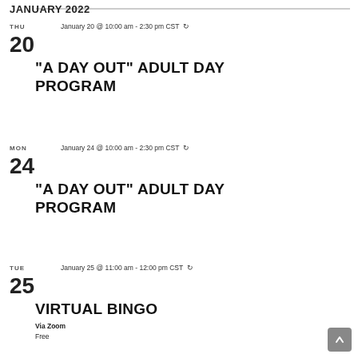JANUARY 2022
THU 20 | January 20 @ 10:00 am - 2:30 pm CST | "A DAY OUT" ADULT DAY PROGRAM
MON 24 | January 24 @ 10:00 am - 2:30 pm CST | "A DAY OUT" ADULT DAY PROGRAM
TUE 25 | January 25 @ 11:00 am - 12:00 pm CST | VIRTUAL BINGO | Via Zoom | Free